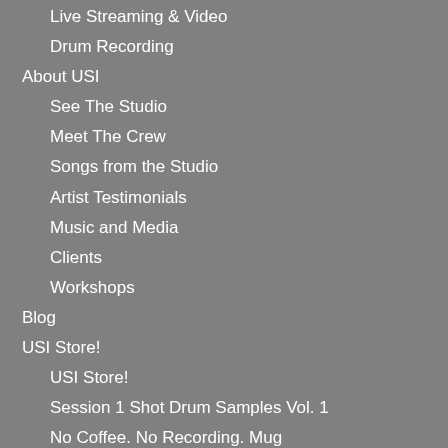Live Streaming & Video
Drum Recording
About USI
See The Studio
Meet The Crew
Songs from the Studio
Artist Testimonials
Music and Media
Clients
Workshops
Blog
USI Store!
USI Store!
Session 1 Shot Drum Samples Vol. 1
No Coffee. No Recording. Mug
My Account
Cart